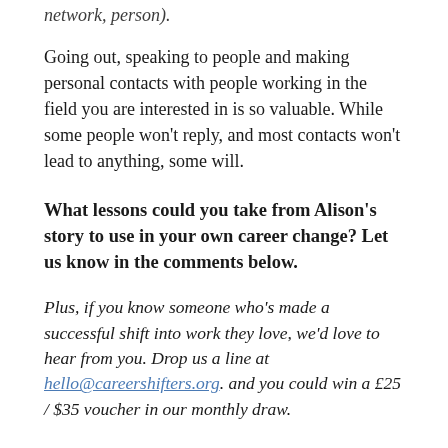network, person).
Going out, speaking to people and making personal contacts with people working in the field you are interested in is so valuable. While some people won't reply, and most contacts won't lead to anything, some will.
What lessons could you take from Alison's story to use in your own career change? Let us know in the comments below.
Plus, if you know someone who's made a successful shift into work they love, we'd love to hear from you. Drop us a line at hello@careershifters.org. and you could win a £25 / $35 voucher in our monthly draw.